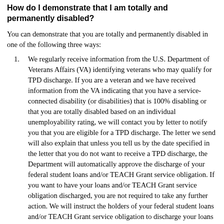How do I demonstrate that I am totally and permanently disabled?
You can demonstrate that you are totally and permanently disabled in one of the following three ways:
We regularly receive information from the U.S. Department of Veterans Affairs (VA) identifying veterans who may qualify for TPD discharge. If you are a veteran and we have received information from the VA indicating that you have a service-connected disability (or disabilities) that is 100% disabling or that you are totally disabled based on an individual unemployability rating, we will contact you by letter to notify you that you are eligible for a TPD discharge. The letter we send will also explain that unless you tell us by the date specified in the letter that you do not want to receive a TPD discharge, the Department will automatically approve the discharge of your federal student loans and/or TEACH Grant service obligation. If you want to have your loans and/or TEACH Grant service obligation discharged, you are not required to take any further action. We will instruct the holders of your federal student loans and/or TEACH Grant service obligation to discharge your loans and/or service obligation. You will not need to complete a